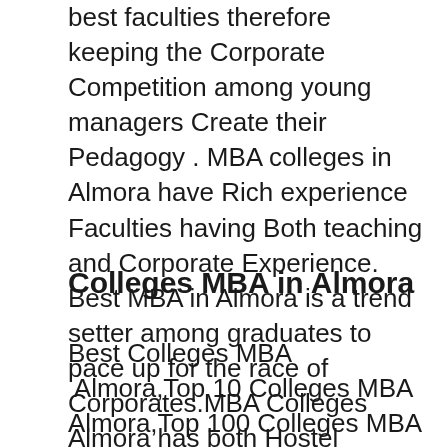best faculties therefore keeping the Corporate Competition among young managers Create their Pedagogy . MBA colleges in Almora have Rich experience Faculties having Both teaching and Corporate Experience. Best MBA in Almora is a trend setter among graduates to pace up for the race of Corporates.MBA Colleges Almora has both Hostel Facilities and Paying Guest Facilities.
Colleges MBA in Almora
Best Colleges MBA  Almora,Top 10 Colleges MBA Almora,Top 100 Colleges MBA Almora, Top 15 Colleges MBA Almora, Top 20 Colleges MBA Almora, Top 25 Colleges MBA Almora, Top 30 Colleges MBA Almora, Top 5 Colleges